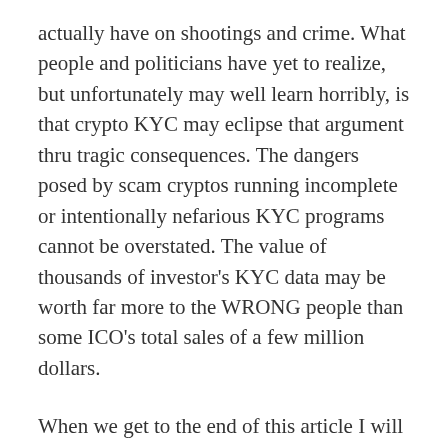actually have on shootings and crime. What people and politicians have yet to realize, but unfortunately may well learn horribly, is that crypto KYC may eclipse that argument thru tragic consequences. The dangers posed by scam cryptos running incomplete or intentionally nefarious KYC programs cannot be overstated. The value of thousands of investor's KYC data may be worth far more to the WRONG people than some ICO's total sales of a few million dollars.
When we get to the end of this article I will prove our worst fears are well founded. We have proof KYC data has already been leaked. Because of this we have informed the US State department, the FBI, the SEC, the DEA, The International Banking Commission and Interpol. As you read and consider the magnitude of the threat I am going to pose, ask